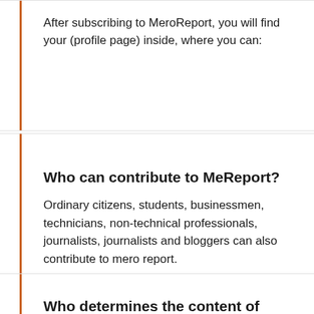After subscribing to MeroReport, you will find your (profile page) inside, where you can:
Who can contribute to MeReport?
Ordinary citizens, students, businessmen, technicians, non-technical professionals, journalists, journalists and bloggers can also contribute to mero report.
Who determines the content of